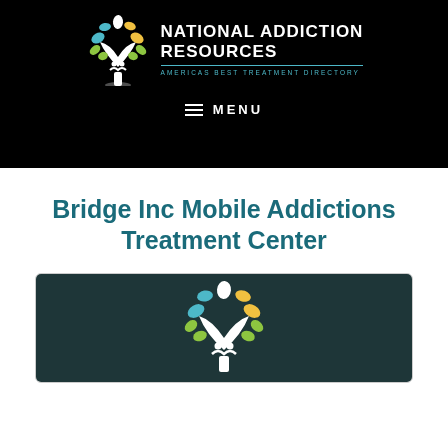[Figure (logo): National Addiction Resources logo with colorful tree and brand name]
MENU
Bridge Inc Mobile Addictions Treatment Center
[Figure (logo): National Addiction Resources tree logo on dark teal background inside a card]